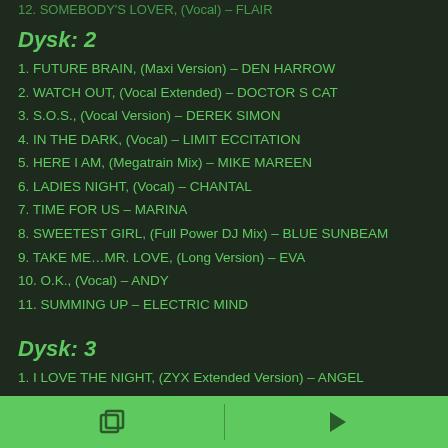12. SOMEBODY'S LOVER, (Vocal) – FLAIR
Dysk: 2
1. FUTURE BRAIN, (Maxi Version) – DEN HARROW
2. WATCH OUT, (Vocal Extended) – DOCTOR S CAT
3. S.O.S., (Vocal Version) – DEREK SIMON
4. IN THE DARK, (Vocal) – LIMIT ECCITATION
5. HERE I AM, (Megatrain Mix) – MIKE MAREEN
6. LADIES NIGHT, (Vocal) – CHANTAL
7. TIME FOR US – MARINA
8. SWEETEST GIRL, (Full Power DJ Mix) – BLUE SUNBEAM
9. TAKE ME…MR. LOVE, (Long Version) – EVA
10. O.K., (Vocal) – ANDY
11. SUMMING UP – ELECTRIC MIND
Dysk: 3
1. I LOVE THE NIGHT, (ZYX Extended Version) – ANGEL
2. MUSIC & WAR – DJ LET BAND